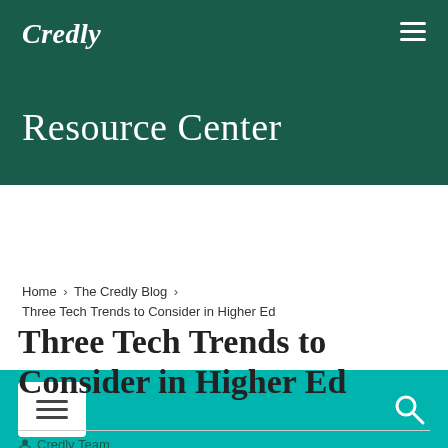[Figure (logo): Credly logo in white italic script on dark green background with hamburger menu icon top right]
Resource Center
[Figure (screenshot): Teal navigation bar with white square menu button (hamburger icon) on left and white search icon on right]
Home › The Credly Blog › Three Tech Trends to Consider in Higher Ed
Three Tech Trends to Consider in Higher Ed
Credly Team